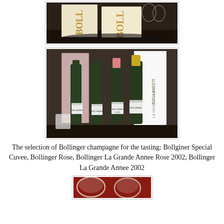[Figure (photo): Photo of Bollinger champagne boxes on a dark surface, showing cream-colored boxes with BOLLINGER text]
[Figure (photo): Photo of four Bollinger champagne bottles with their boxes: Special Cuvee, Bollinger Rose, Bollinger La Grande Annee Rose 2002, Bollinger La Grande Annee 2002]
The selection of Bollinger champagne for the tasting: Bollginer Special Cuvee, Bollinger Rose, Bollinger La Grande Annee Rose 2002, Bollinger La Grande Annee 2002
[Figure (photo): Photo of champagne glasses on a red surface, partially visible at bottom of page]